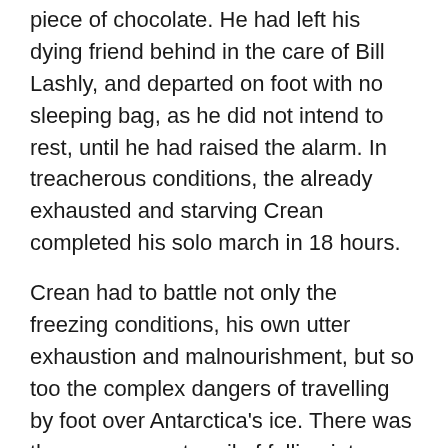piece of chocolate. He had left his dying friend behind in the care of Bill Lashly, and departed on foot with no sleeping bag, as he did not intend to rest, until he had raised the alarm. In treacherous conditions, the already exhausted and starving Crean completed his solo march in 18 hours.
Crean had to battle not only the freezing conditions, his own utter exhaustion and malnourishment, but so too the complex dangers of travelling by foot over Antarctica's ice. There was the ever present peril of falling into crevasses, waist deep accumulations of snow to wade through, and as he neared Hut Point there was the constant danger of crashing through thin sea ice. As he dragged himself onwards a huge storm was gathering in the skies behind him and hunting him down, adding more urgency to his efforts, and every last ounce of his strength, resolve and determination were called